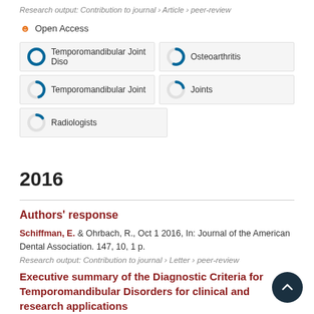Research output: Contribution to journal › Article › peer-review
Open Access
[Figure (infographic): Five keyword badges with donut-chart fill indicators: Temporomandibular Joint Disorders (100%), Osteoarthritis (~55%), Temporomandibular Joint (~45%), Joints (~20%), Radiologists (~15%)]
2016
Authors' response
Schiffman, E. & Ohrbach, R., Oct 1 2016, In: Journal of the American Dental Association. 147, 10, 1 p.
Research output: Contribution to journal › Letter › peer-review
Executive summary of the Diagnostic Criteria for Temporomandibular Disorders for clinical and research applications